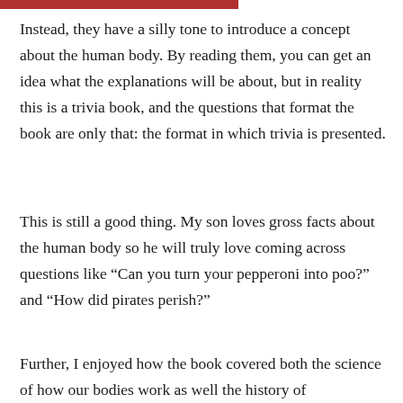Instead, they have a silly tone to introduce a concept about the human body. By reading them, you can get an idea what the explanations will be about, but in reality this is a trivia book, and the questions that format the book are only that: the format in which trivia is presented.
This is still a good thing. My son loves gross facts about the human body so he will truly love coming across questions like “Can you turn your pepperoni into poo?” and “How did pirates perish?”
Further, I enjoyed how the book covered both the science of how our bodies work as well the history of